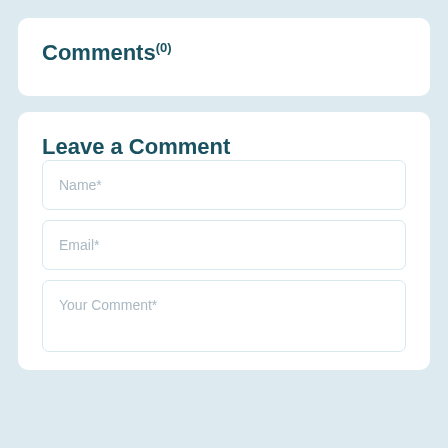Comments(0)
Leave a Comment
Name*
Email*
Your Comment*